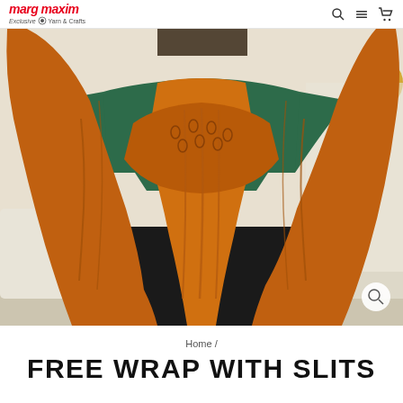marg maxim Exclusive Yarn & Crafts
[Figure (photo): A person wearing a large orange knit wrap/shawl with cable texture, tied in the front, wearing a green long-sleeve top and black pants, standing in a living room setting]
Home /
FREE WRAP WITH SLITS